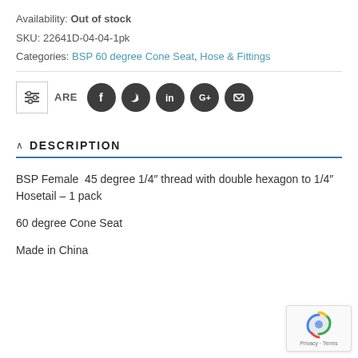Availability: Out of stock
SKU: 22641D-04-04-1pk
Categories: BSP 60 degree Cone Seat, Hose & Fittings
[Figure (infographic): Social share bar with filter icon, SHARE label, and five circular dark social media icons: Facebook, Twitter, LinkedIn, Google+, Email]
DESCRIPTION
BSP Female  45 degree 1/4″ thread with double hexagon to 1/4″ Hosetail – 1 pack
60 degree Cone Seat
Made in China